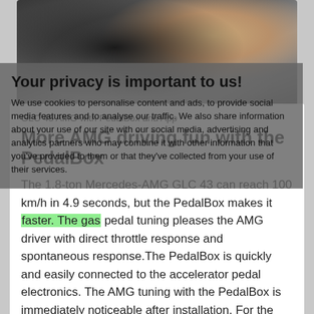[Figure (photo): Close-up photo of a Mercedes-AMG GLC 43 steering wheel area with someone holding a PedalBox tuning device]
Your privacy is important to us!
We use cookies to personalise content and ads, to provide social media features and to analyse our traffic. We also share information about your use of our site with our social media, advertising and analytics partners who may combine it with other information that you've provided to them or that they've collected from your use of their services.
GLC 43 AMG with PedalBox and App
More AMG driving fun with the PedalBox
The 1.8-ton Mercedes-AMG GLC 43 can reach 100 km/h in 4.9 seconds, but the PedalBox makes it faster. The gas pedal tuning pleases the AMG driver with direct throttle response and spontaneous response.The PedalBox is quickly and easily connected to the accelerator pedal electronics. The AMG tuning with the PedalBox is immediately noticeable after installation. For the individual and personal driving experience, the PedalBox also offers more than 20 different tuning settings to choose from.